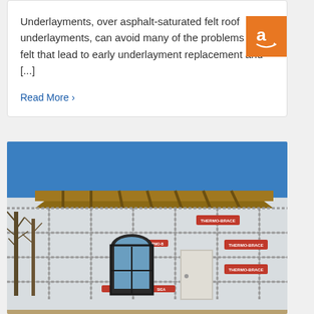Underlayments, over asphalt-saturated felt roof underlayments, can avoid many of the problems of felt that lead to early underlayment replacement and [...]
Read More >
[Figure (photo): A building under construction with insulation panels (labeled Thermo-Brace) covering the exterior walls. The building has an arched window and a door, with bare trees visible on the left and a blue sky in the background.]